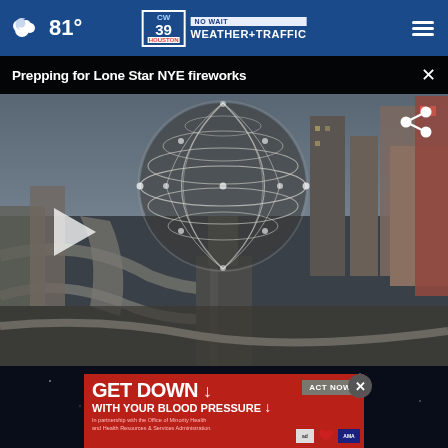81° CW39 NO WAIT WEATHER+TRAFFIC
Prepping for Lone Star NYE fireworks
[Figure (screenshot): Aerial drone video still of a large geodesic sphere structure (Reunion Tower) in Dallas with city skyline and highway interchange surrounding it, shown as a video player thumbnail with play button overlay and share icon.]
[Figure (screenshot): Advertisement banner: GET DOWN WITH YOUR BLOOD PRESSURE - ACT NOW - In partnership with the Office of Minority Health and Health Resources & Services Administration. Logos: Ad Council, American Heart Association, AMA.]